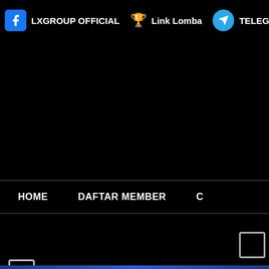LXGROUP OFFICIAL  🏆 Link Lomba  ✈ TELEGRAM
[Figure (screenshot): Checkbox square icon on left side, mid-page]
Selan
HOME   DAFTAR MEMBER   C
[Figure (screenshot): Small checkbox square icon bottom right]